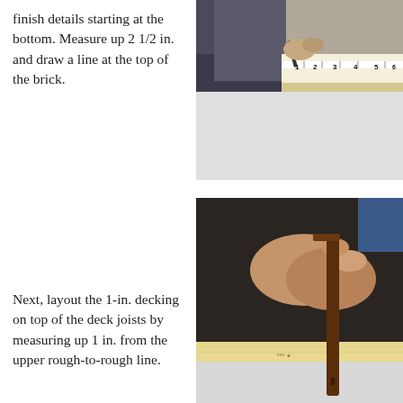finish details starting at the bottom. Measure up 2 1/2 in. and draw a line at the top of the brick.
[Figure (photo): Close-up of a person's hands using a tape measure along the edge of a white surface or board, with jeans visible in background.]
Next, layout the 1-in. decking on top of the deck joists by measuring up 1 in. from the upper rough-to-rough line.
[Figure (photo): Person's hand holding a dark wood square or marking tool against a light wood board on a white surface.]